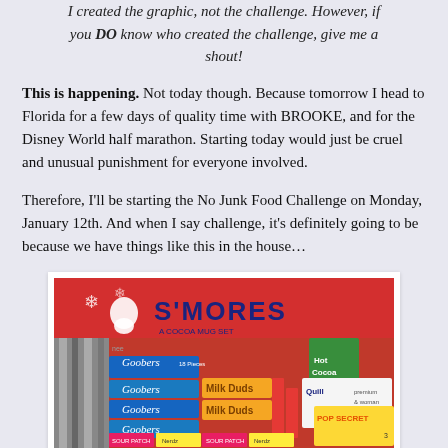I created the graphic, not the challenge. However, if you DO know who created the challenge, give me a shout!
This is happening. Not today though. Because tomorrow I head to Florida for a few days of quality time with BROOKE, and for the Disney World half marathon. Starting today would just be cruel and unusual punishment for everyone involved.
Therefore, I'll be starting the No Junk Food Challenge on Monday, January 12th. And when I say challenge, it's definitely going to be because we have things like this in the house…
[Figure (photo): Photo of a box of S'mores cocoa mix and various candy boxes including Goobers, Milk Duds, Pop Secret, and other snack items piled together]